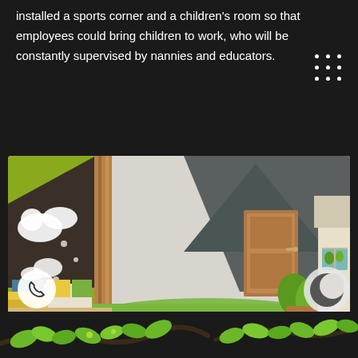installed a sports corner and a children's room so that employees could bring children to work, who will be constantly supervised by nannies and educators.
[Figure (photo): Interior photo of a children's room featuring green walls with a climbing wall mural, a wooden climbing frame/ladder structure, green carpet area, a brown door in the center, a children's playhouse structure on the right, green leaf-shaped chairs, and colorful bedding on the left.]
[Figure (illustration): Bottom decorative border with illustrated tree branches and green leaves on dark background.]